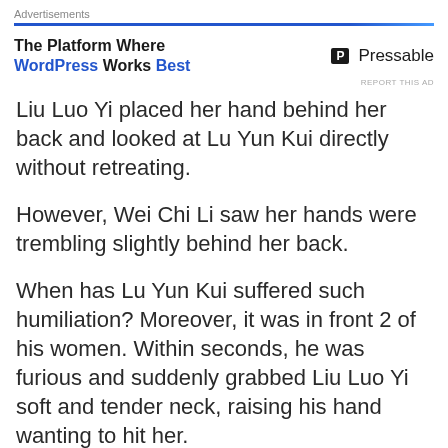Advertisements
[Figure (infographic): Advertisement banner: 'The Platform Where WordPress Works Best' with Pressable logo on the right]
REPORT THIS AD
Liu Luo Yi placed her hand behind her back and looked at Lu Yun Kui directly without retreating.
However, Wei Chi Li saw her hands were trembling slightly behind her back.
When has Lu Yun Kui suffered such humiliation? Moreover, it was in front 2 of his women. Within seconds, he was furious and suddenly grabbed Liu Luo Yi soft and tender neck, raising his hand wanting to hit her.
Liu Luo Yi did not hide and simply closed her eyes.
Seeing this, Wei Chi Li immediately threw away her half-eaten pastry. Within that imminent peril, she rushed forward and held Lu Yun Kui's hand firmly.